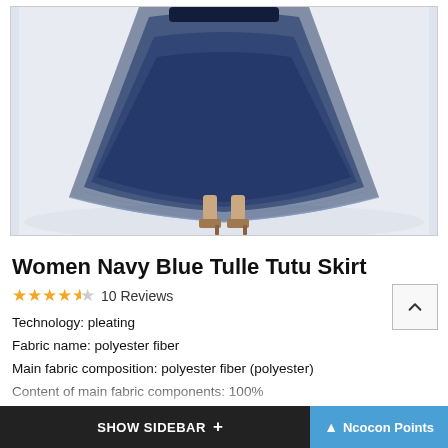[Figure (photo): Photo of a woman wearing a navy blue tulle tutu skirt, showing the lower half of the body with the full flowing skirt and strappy heeled sandals on a light background.]
Women Navy Blue Tulle Tutu Skirt
★★★★½ 10 Reviews
Technology: pleating
Fabric name: polyester fiber
Main fabric composition: polyester fiber (polyester)
Content of main fabric components: 100%
Lining composition: nylon/nylon
Content of lining ingredients: 100%
Skirt type: Pengpeng skirt
SHOW SIDEBAR +   ▲ Ncocon Points